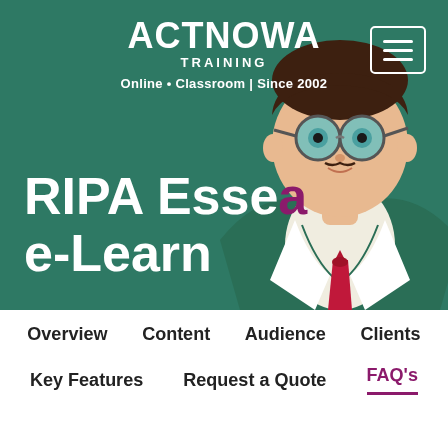[Figure (illustration): Hero banner with illustrated character (person in green suit with red tie, goggles/glasses) and Act Now Training logo on dark green background]
RIPA Esse a e-Learn
Overview
Content
Audience
Clients
Key Features
Request a Quote
FAQ's